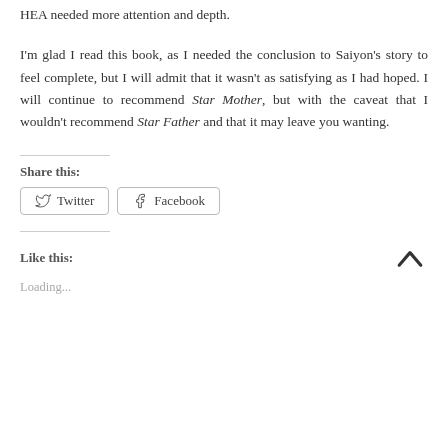HEA needed more attention and depth.
I'm glad I read this book, as I needed the conclusion to Saiyon's story to feel complete, but I will admit that it wasn't as satisfying as I had hoped. I will continue to recommend Star Mother, but with the caveat that I wouldn't recommend Star Father and that it may leave you wanting.
Share this:
Twitter
Facebook
Like this:
Loading...